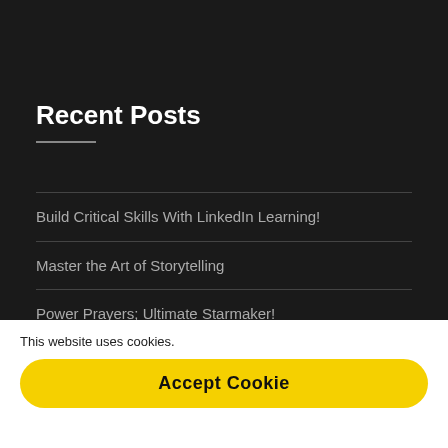Recent Posts
Build Critical Skills With LinkedIn Learning!
Master the Art of Storytelling
Power Prayers; Ultimate Starmaker!
Freelancer: Making Rules Starmaker
This website uses cookies.
Accept Cookie